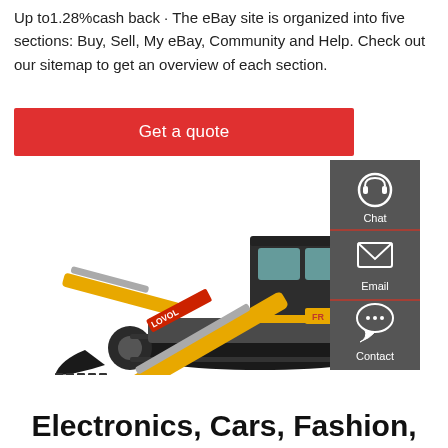Up to1.28%cash back · The eBay site is organized into five sections: Buy, Sell, My eBay, Community and Help. Check out our sitemap to get an overview of each section.
Get a quote
[Figure (photo): LOVOL brand mini excavator / compact excavator with yellow arm and black tracks, side view on white background. A sidebar with dark grey background shows Chat, Email, and Contact icons on the right side.]
Electronics, Cars, Fashion,